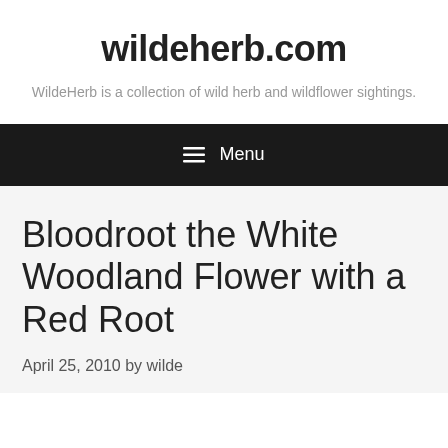wildeherb.com
WildeHerb is a collection of wild herb and wildflower sightings.
☰ Menu
Bloodroot the White Woodland Flower with a Red Root
April 25, 2010 by wilde